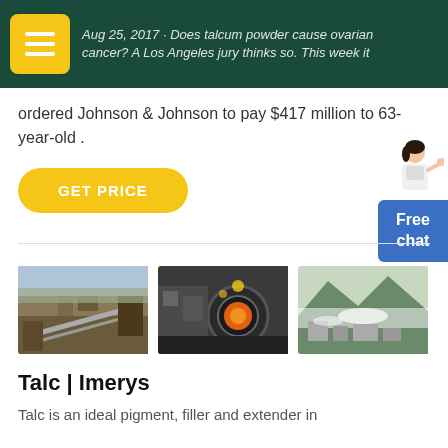Aug 25, 2017 · Does talcum powder cause ovarian cancer? A Los Angeles jury thinks so. This week it ordered Johnson & Johnson to pay $417 million to 63-year-old .
ordered Johnson & Johnson to pay $417 million to 63-year-old .
GET PRICE
[Figure (photo): Three industrial/mining facility photographs side by side]
Talc | Imerys
Talc is an ideal pigment, filler and extender in